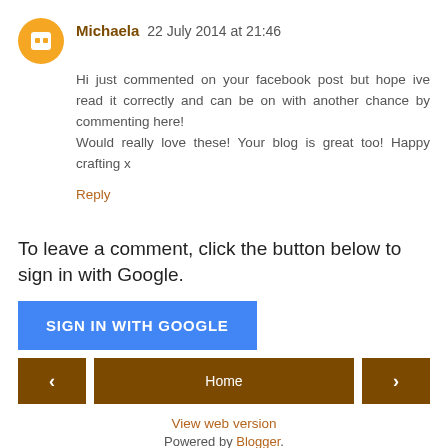Michaela 22 July 2014 at 21:46
Hi just commented on your facebook post but hope ive read it correctly and can be on with another chance by commenting here!
Would really love these! Your blog is great too! Happy crafting x
Reply
To leave a comment, click the button below to sign in with Google.
[Figure (other): Blue button labeled SIGN IN WITH GOOGLE]
[Figure (other): Navigation bar with left arrow button, Home button, and right arrow button]
View web version
Powered by Blogger.